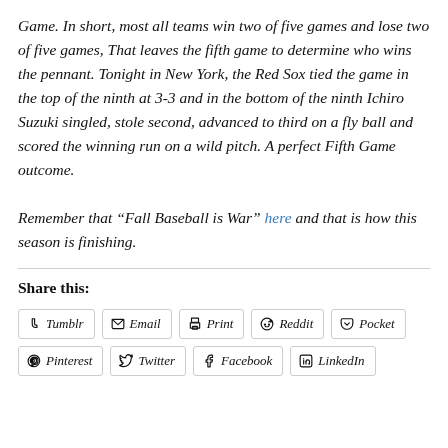Game. In short, most all teams win two of five games and lose two of five games, That leaves the fifth game to determine who wins the pennant. Tonight in New York, the Red Sox tied the game in the top of the ninth at 3-3 and in the bottom of the ninth Ichiro Suzuki singled, stole second, advanced to third on a fly ball and scored the winning run on a wild pitch. A perfect Fifth Game outcome.

Remember that “Fall Baseball is War” here and that is how this season is finishing.
Share this:
Tumblr  Email  Print  Reddit  Pocket  Pinterest  Twitter  Facebook  LinkedIn